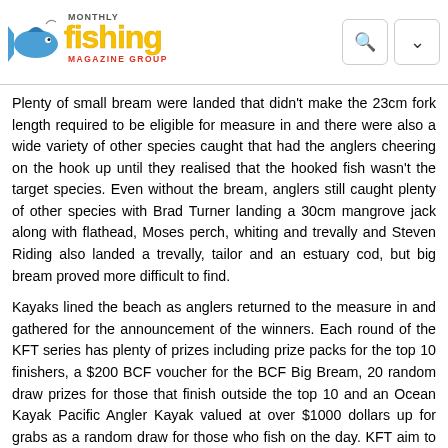Fishing Monthly Magazine Group
Plenty of small bream were landed that didn't make the 23cm fork length required to be eligible for measure in and there were also a wide variety of other species caught that had the anglers cheering on the hook up until they realised that the hooked fish wasn't the target species. Even without the bream, anglers still caught plenty of other species with Brad Turner landing a 30cm mangrove jack along with flathead, Moses perch, whiting and trevally and Steven Riding also landed a trevally, tailor and an estuary cod, but big bream proved more difficult to find.
Kayaks lined the beach as anglers returned to the measure in and gathered for the announcement of the winners. Each round of the KFT series has plenty of prizes including prize packs for the top 10 finishers, a $200 BCF voucher for the BCF Big Bream, 20 random draw prizes for those that finish outside the top 10 and an Ocean Kayak Pacific Angler Kayak valued at over $1000 dollars up for grabs as a random draw for those who fish on the day. KFT aim to hold events that are fun and professionally run, where kayak anglers of all skill levels can gather to meet other yak fishos, learn from each other and compete for a swag of prizes. These comps are all about